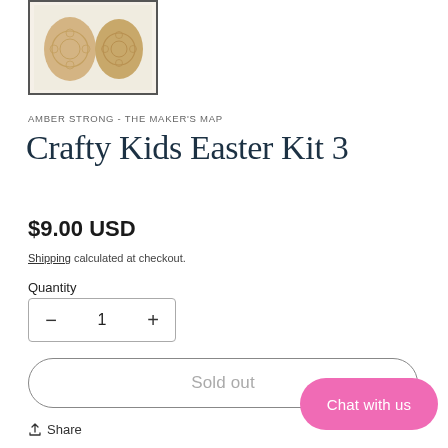[Figure (photo): Thumbnail image of two decorated Easter eggs with circular floral patterns on a white cloth background, with a dark border frame.]
AMBER STRONG - THE MAKER'S MAP
Crafty Kids Easter Kit 3
$9.00 USD
Shipping calculated at checkout.
Quantity
− 1 +
Sold out
Chat with us
Share